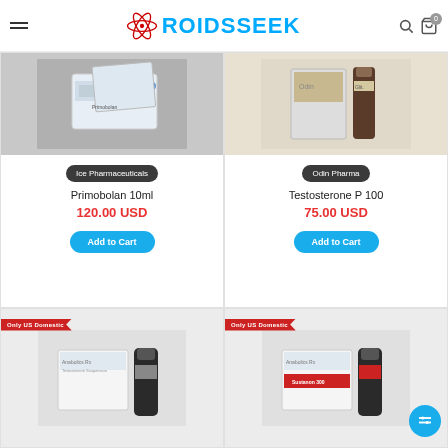ROIDSSEEK
[Figure (photo): Product photo: Primobolan 10ml box packaging by Ice Pharmaceuticals]
Ice Pharmaceuticals
Primobolan 10ml
120.00 USD
Add to Cart
[Figure (photo): Product photo: Testosterone P 100 vial and packaging by Odin Pharma]
Odin Pharma
Testosterone P 100
75.00 USD
Add to Cart
[Figure (photo): Product photo: Testosterone Suspension injection vial, Only US Domestic]
[Figure (photo): Product photo: Sustanon 300 vial and box, Only US Domestic]